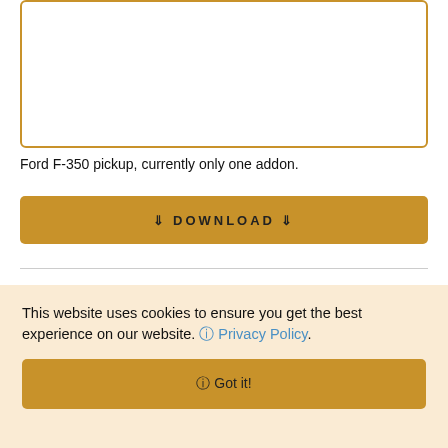[Figure (other): Empty bordered box with golden/amber border, likely placeholder for a vehicle image]
Ford F-350 pickup, currently only one addon.
⇩ DOWNLOAD ⇩
This website uses cookies to ensure you get the best experience on our website. ⓘ Privacy Policy.
ⓘ Got it!